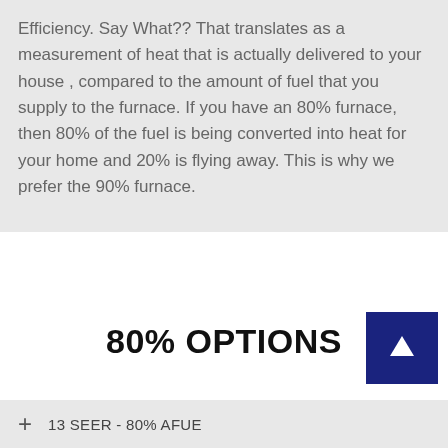Efficiency. Say What?? That translates as a measurement of heat that is actually delivered to your house , compared to the amount of fuel that you supply to the furnace. If you have an 80% furnace, then 80% of the fuel is being converted into heat for your home and 20% is flying away. This is why we prefer the 90% furnace.
80% OPTIONS
13 SEER - 80% AFUE